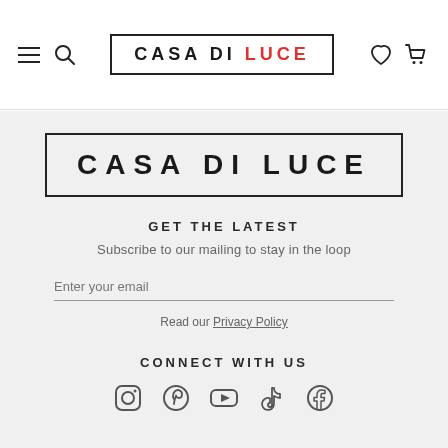CASA DI LUCE (navigation header with hamburger menu, search, wishlist, cart icons)
[Figure (logo): CASA DI LUCE logo in bordered box, large centered]
GET THE LATEST
Subscribe to our mailing to stay in the loop
Enter your email
Read our Privacy Policy
CONNECT WITH US
[Figure (illustration): Social media icons row (Instagram, Pinterest, YouTube, TikTok, Facebook)]